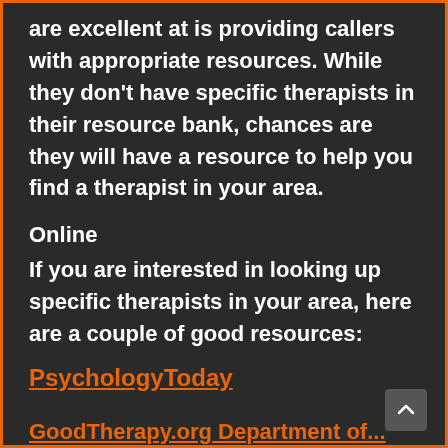are excellent at is providing callers with appropriate resources. While they don't have specific therapists in their resource bank, chances are they will have a resource to help you find a therapist in your area.
Online
If you are interested in looking up specific therapists in your area, here are a couple of good resources:
PsychologyToday
GoodTherapy.org Department of...